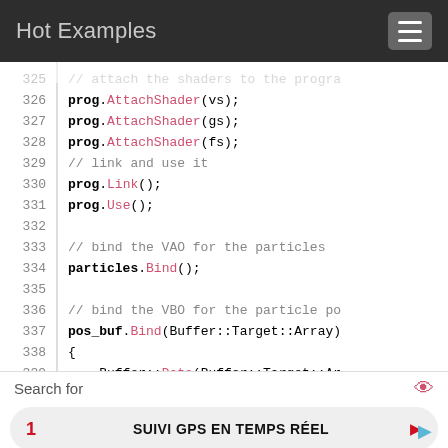Hot Examples
[Figure (screenshot): Code viewer showing C++ lines 325-339 with syntax highlighting. Lines show prog.AttachShader(vs), prog.AttachShader(gs), prog.AttachShader(fs), comments, prog.Link(), prog.Use(), particles.Bind(), pos_buf.Bind(Buffer::Target::Array), Buffer::Data(Buffer::Target::Ar]
Search for
1  SUIVI GPS EN TEMPS RÉEL
2  VIDÉO EN STREAMING GRATUITE